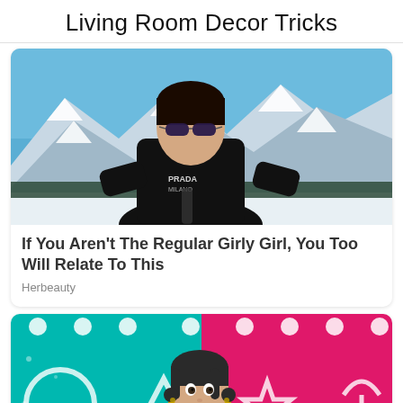Living Room Decor Tricks
[Figure (photo): Woman wearing sunglasses and a black Prada hoodie posing in front of snow-capped mountains under a blue sky]
If You Aren't The Regular Girly Girl, You Too Will Relate To This
Herbeauty
[Figure (screenshot): Colorful Squid Game themed image with animated doll character wearing yellow outfit against teal and pink background with geometric symbols (circle, triangle, star, umbrella). A red CLOSE button is visible at the bottom.]